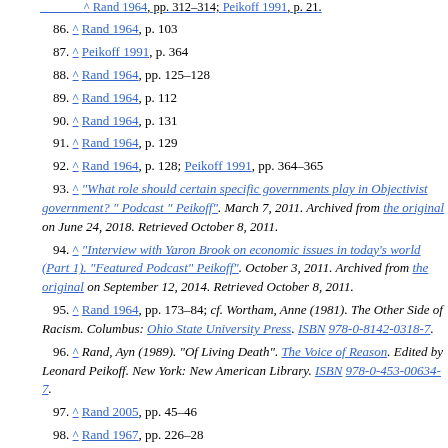86. ^ Rand 1964, p. 103
87. ^ Peikoff 1991, p. 364
88. ^ Rand 1964, pp. 125–128
89. ^ Rand 1964, p. 112
90. ^ Rand 1964, p. 131
91. ^ Rand 1964, p. 129
92. ^ Rand 1964, p. 128; Peikoff 1991, pp. 364–365
93. ^ "What role should certain specific governments play in Objectivist government? " Podcast " Peikoff". March 7, 2011. Archived from the original on June 24, 2018. Retrieved October 8, 2011.
94. ^ "Interview with Yaron Brook on economic issues in today's world (Part 1). "Featured Podcast" Peikoff". October 3, 2011. Archived from the original on September 12, 2014. Retrieved October 8, 2011.
95. ^ Rand 1964, pp. 173–84; cf. Wortham, Anne (1981). The Other Side of Racism. Columbus: Ohio State University Press. ISBN 978-0-8142-0318-7.
96. ^ Rand, Ayn (1989). "Of Living Death". The Voice of Reason. Edited by Leonard Peikoff. New York: New American Library. ISBN 978-0-453-00634-7.
97. ^ Rand 2005, pp. 45–46
98. ^ Rand 1967, pp. 226–28
99. ^ Rand 1982, pp. 173–84
100. ^ "Free Speech". Ayn Rand Lexicon.